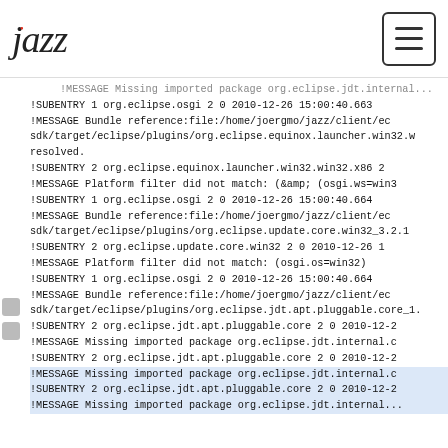jazz (logo) with hamburger menu icon
!MESSAGE Missing imported package org.eclipse.jdt.internal...
!SUBENTRY 1 org.eclipse.osgi 2 0 2010-12-26 15:00:40.663
!MESSAGE Bundle reference:file:/home/joergmo/jazz/client/ec sdk/target/eclipse/plugins/org.eclipse.equinox.launcher.win32.w... resolved.
!SUBENTRY 2 org.eclipse.equinox.launcher.win32.win32.x86 2...
!MESSAGE Platform filter did not match: (&amp; (osgi.ws=win3...
!SUBENTRY 1 org.eclipse.osgi 2 0 2010-12-26 15:00:40.664
!MESSAGE Bundle reference:file:/home/joergmo/jazz/client/ec sdk/target/eclipse/plugins/org.eclipse.update.core.win32_3.2.1...
!SUBENTRY 2 org.eclipse.update.core.win32 2 0 2010-12-26 1...
!MESSAGE Platform filter did not match: (osgi.os=win32)
!SUBENTRY 1 org.eclipse.osgi 2 0 2010-12-26 15:00:40.664
!MESSAGE Bundle reference:file:/home/joergmo/jazz/client/ec sdk/target/eclipse/plugins/org.eclipse.jdt.apt.pluggable.core_1...
!SUBENTRY 2 org.eclipse.jdt.apt.pluggable.core 2 0 2010-12-2...
!MESSAGE Missing imported package org.eclipse.jdt.internal.c...
!SUBENTRY 2 org.eclipse.jdt.apt.pluggable.core 2 0 2010-12-2...
!MESSAGE Missing imported package org.eclipse.jdt.internal.c...
!SUBENTRY 2 org.eclipse.jdt.apt.pluggable.core 2 0 2010-12-2...
!MESSAGE Missing imported package org.eclipse.jdt.internal...